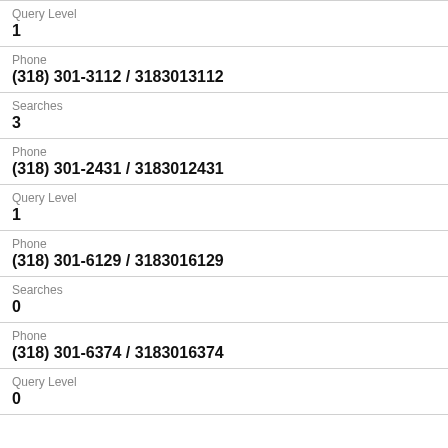Query Level
1
Phone
(318) 301-3112 / 3183013112
Searches
3
Phone
(318) 301-2431 / 3183012431
Query Level
1
Phone
(318) 301-6129 / 3183016129
Searches
0
Phone
(318) 301-6374 / 3183016374
Query Level
0